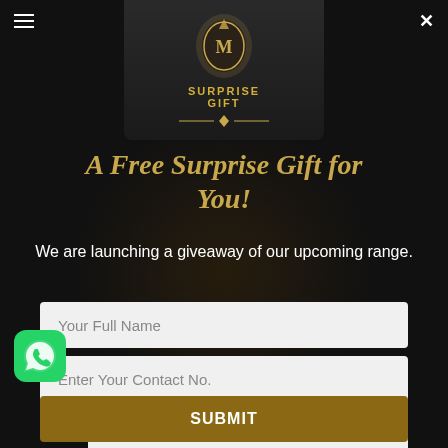[Figure (screenshot): Dark modal popup overlay showing a luxury brand surprise gift giveaway form]
A Free Surprise Gift for You!
We are launching a giveaway of our upcoming range.
Your Full Name
Enter Your Contact No.
Enter Your Email Address
SUBMIT